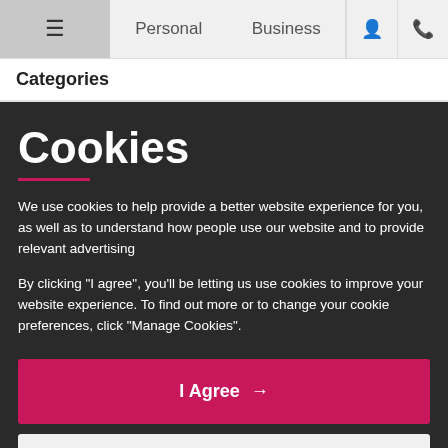≡  Personal  Business  👤  📞
Categories
Cookies
We use cookies to help provide a better website experience for you, as well as to understand how people use our website and to provide relevant advertising
By clicking "I agree", you'll be letting us use cookies to improve your website experience. To find out more or to change your cookie preferences, click "Manage Cookies".
I Agree →
Manage Cookies →